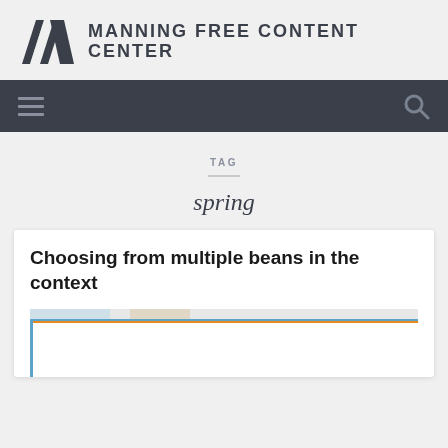MANNING FREE CONTENT CENTER
TAG
spring
Choosing from multiple beans in the context
[Figure (screenshot): Partial screenshot of a code or diagram image at the bottom of the article card, with blue and orange borders visible]